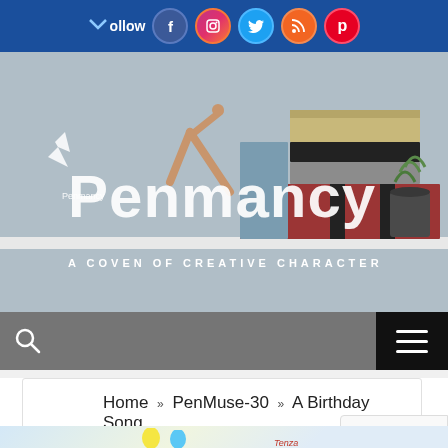Follow (social icons: Facebook, Instagram, Twitter, RSS, Pinterest)
[Figure (photo): Penmancy website hero banner showing a stack of books with a wooden mannequin and plant in the background. Overlay text: Penmancy logo and tagline A COVEN OF CREATIVE CHARACTERS]
[Figure (screenshot): Navigation bar with search icon and hamburger menu button on a gray background]
Home » PenMuse-30 » A Birthday Song
[Figure (photo): Bottom portion showing colorful birthday balloons and partial text including Tenza and date May 1-20, 2021]